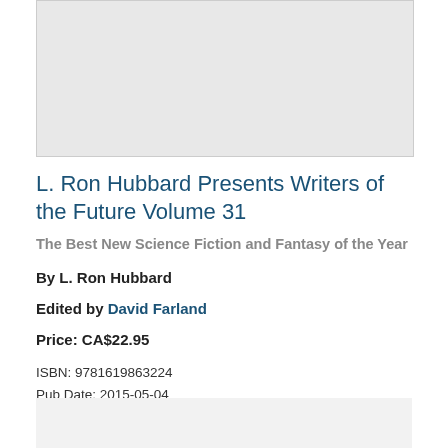[Figure (other): Book cover image placeholder (gray rectangle)]
L. Ron Hubbard Presents Writers of the Future Volume 31
The Best New Science Fiction and Fantasy of the Year
By L. Ron Hubbard
Edited by David Farland
Price: CA$22.95
ISBN: 9781619863224
Pub Date: 2015-05-04
Format: Paperback
[Figure (other): Bottom section placeholder (gray rectangle)]